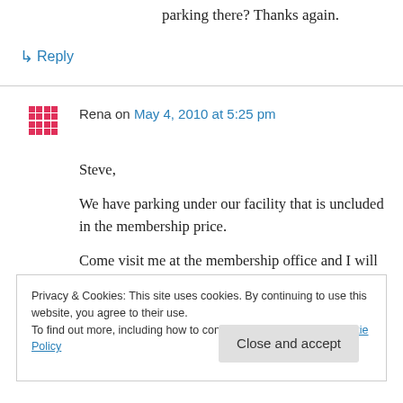parking there? Thanks again.
↳ Reply
Rena on May 4, 2010 at 5:25 pm
Steve,

We have parking under our facility that is uncluded in the membership price.

Come visit me at the membership office and I will be happy to help you out!
Privacy & Cookies: This site uses cookies. By continuing to use this website, you agree to their use.
To find out more, including how to control cookies, see here: Cookie Policy
Close and accept
R